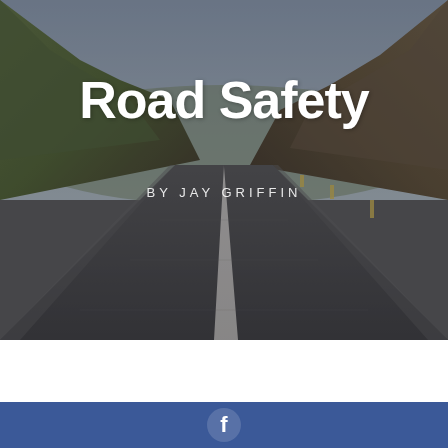[Figure (photo): Road stretching into the distance through a hilly landscape, viewed from driver's perspective. Dark asphalt road with white center line, green and brown hills on either side, overcast sky.]
Road Safety
BY JAY GRIFFIN
[Figure (logo): Facebook logo icon (white 'f' on blue circle) on a blue background bar]